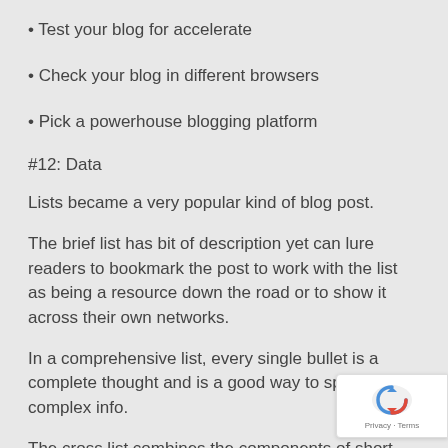• Test your blog for accelerate
• Check your blog in different browsers
• Pick a powerhouse blogging platform
#12: Data
Lists became a very popular kind of blog post.
The brief list has bit of description yet can lure readers to bookmark the post to work with the list as being a resource down the road or to show it across their own networks.
In a comprehensive list, every single bullet is a complete thought and is a good way to speak complex info.
The cross list combines the components of short and detailed lists, often with descriptive narratives or details in sentences between the real lists.